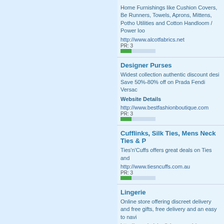Home Furnishings like Cushion Covers, Be Runners, Towels, Aprons, Mittens, Potho Utilities and Cotton Handloom / Power loo
http://www.alcotfabrics.net
PR: 3
Designer Purses
Widest collection authentic discount desi Save 50%-80% off on Prada Fendi Versac Website Details
http://www.bestfashionboutique.com
PR: 3
Cufflinks, Silk Ties, Mens Neck Ties & P
Ties'n'Cuffs offers great deals on Ties and
http://www.tiesncuffs.com.au
PR: 3
Lingerie
Online store offering discreet delivery and free gifts, free delivery and an easy to navi
http://www.knickerlicious.co.uk/
PR: 3
Swimsuits and Swimwear for Women
Bella Chica is a sizzling, sexy swimwear Online Catalog for the latest swimwear, c Ujena Swimwear and Obagi Skincare. – W